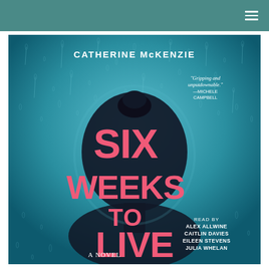[Figure (illustration): Book cover for 'Six Weeks to Live' by Catherine McKenzie. Background is a blue-tinted rain-drenched glass with a silhouette of a person's head (seen from behind with hair in a bun). Large pink/coral bold text reads 'SIX WEEKS TO LIVE'. Author name 'CATHERINE McKENZIE' is at the top in white. Quote 'Gripping and unputdownable.' — MICHELE CAMPBELL in white text upper right. Bottom right: 'READ BY ALEX ALLWINE CAITLIN DAVIES EILEEN STEVENS JULIA WHELAN'. Bottom center: 'A NOVEL' in white.]